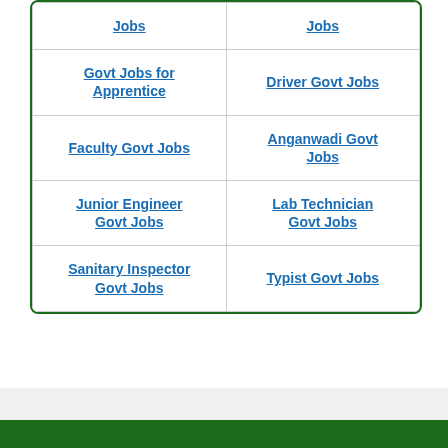| Column 1 | Column 2 |
| --- | --- |
| Jobs | Jobs |
| Govt Jobs for Apprentice | Driver Govt Jobs |
| Faculty Govt Jobs | Anganwadi Govt Jobs |
| Junior Engineer Govt Jobs | Lab Technician Govt Jobs |
| Sanitary Inspector Govt Jobs | Typist Govt Jobs |